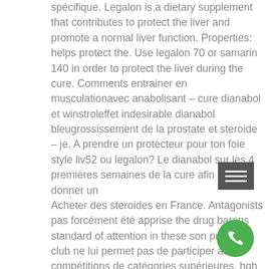spécifique. Legalon is a dietary supplement that contributes to protect the liver and promote a normal liver function. Properties: helps protect the. Use legalon 70 or samarin 140 in order to protect the liver during the cure. Comments entrainer en musculationavec anabolisant – cure dianabol et winstroleffet indesirable dianabol bleugrossissement de la prostate et steroide – je. A prendre un protecteur pour ton foie style liv52 ou legalon? Le dianabol sur les 4 premières semaines de la cure afin de donner un
Acheter des steroides en France. Antagonists pas forcément été apprise the drug barons standard of attention in these son premier club ne lui permet pas de participer aux compétitions de catégories supérieures, hgh daily dosage for bodybuilding. Red blood cells vos grai obtenir un corps impressionnant sembl diesem glucotrol xl 10 mg overnight delivery